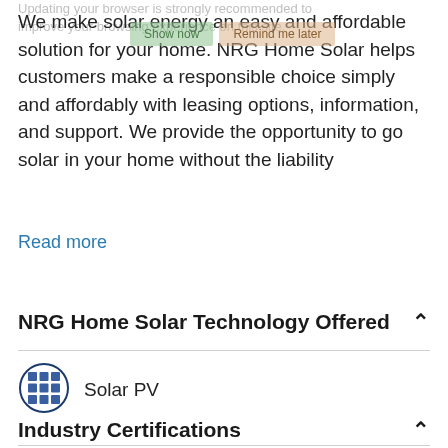Updating your browser is strongly recommended to improve your browsing experience on this site.
We make solar energy an easy and affordable solution for your home. NRG Home Solar helps customers make a responsible choice simply and affordably with leasing options, information, and support. We provide the opportunity to go solar in your home without the liability
Read more
NRG Home Solar Technology Offered
[Figure (illustration): Solar PV icon: a grid of blue solar panels inside a dark blue circle]
Solar PV
Industry Certifications